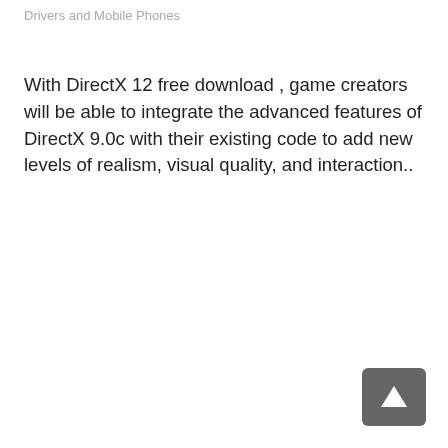Drivers and Mobile Phones
With DirectX 12 free download , game creators will be able to integrate the advanced features of DirectX 9.0c with their existing code to add new levels of realism, visual quality, and interaction..
[Figure (other): A dark grey rounded rectangle button with a white upward-pointing arrow/cursor icon, positioned at bottom-right corner of the page.]